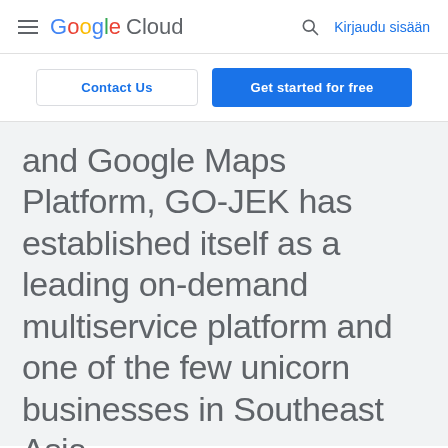Google Cloud — Kirjaudu sisään
Contact Us | Get started for free
and Google Maps Platform, GO-JEK has established itself as a leading on-demand multiservice platform and one of the few unicorn businesses in Southeast Asia.